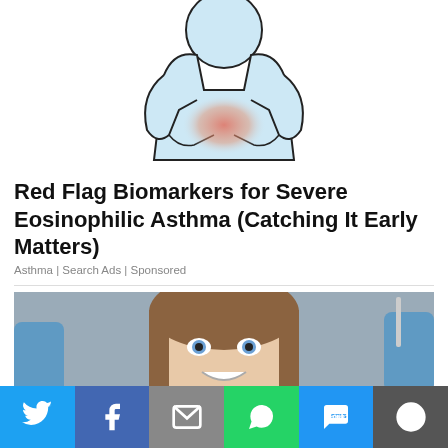[Figure (illustration): Cartoon illustration of a person holding their abdomen area with a reddish glow indicating pain/inflammation]
Red Flag Biomarkers for Severe Eosinophilic Asthma (Catching It Early Matters)
Asthma | Search Ads | Sponsored
[Figure (photo): Smiling young woman with blue eyes at a dental appointment, gloved hands holding dental tools visible]
[Figure (infographic): Social sharing bar with Twitter, Facebook, Email, WhatsApp, SMS, and More buttons]